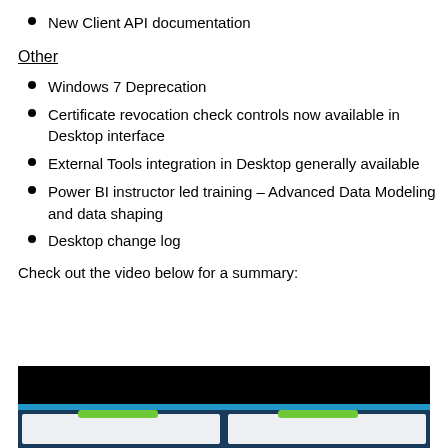New Client API documentation
Other
Windows 7 Deprecation
Certificate revocation check controls now available in Desktop interface
External Tools integration in Desktop generally available
Power BI instructor led training – Advanced Data Modeling and data shaping
Desktop change log
Check out the video below for a summary:
[Figure (screenshot): Video thumbnail showing a dark black header bar and below it a blue bar with two white panel areas side by side on a dark blue background]